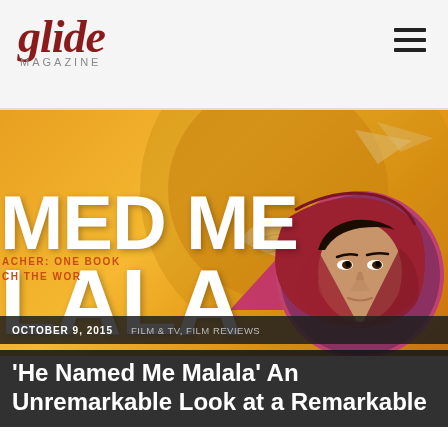[Figure (logo): Glide Magazine logo - dark red italic serif 'glide' with 'MAGAZINE' in small caps below]
[Figure (photo): Movie poster for 'He Named Me Malala' - orange/golden background with large white text 'MED ME' and 'LALA', circular photo of Malala Yousafzai in red headscarf on right side, open book graphic in background]
OCTOBER 9, 2015    FILM & TV, FILM REVIEWS
'He Named Me Malala' An Unremarkable Look at a Remarkable